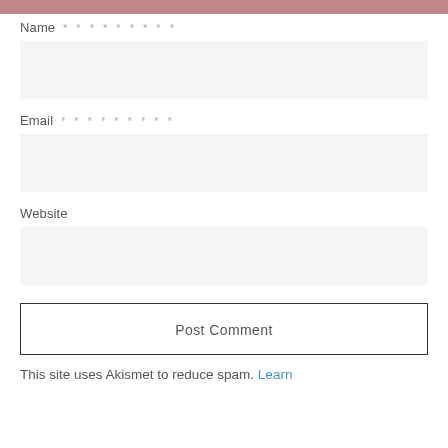Name * * * * * * * * *
[Figure (other): Empty text input field for Name]
Email * * * * * * * * *
[Figure (other): Empty text input field for Email]
Website
[Figure (other): Empty text input field for Website]
Post Comment
This site uses Akismet to reduce spam. Learn